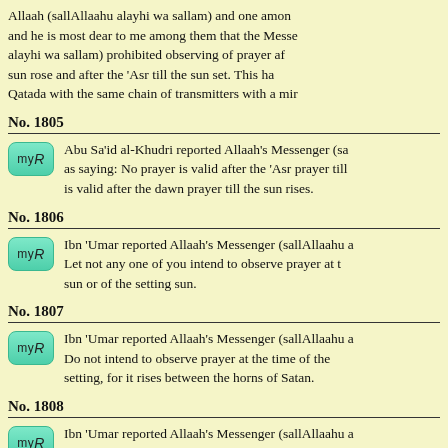Allaah (sallAllaahu alayhi wa sallam) and one among and he is most dear to me among them that the Messenger (sallAllaahu alayhi wa sallam) prohibited observing of prayer after the sun rose and after the 'Asr till the sun set. This hadith is transmitted by Qatada with the same chain of transmitters with a minor difference.
No. 1805
Abu Sa'id al-Khudri reported Allaah's Messenger (sallAllaahu alayhi wa sallam) as saying: No prayer is valid after the 'Asr prayer till the sun sets and no prayer is valid after the dawn prayer till the sun rises.
No. 1806
Ibn 'Umar reported Allaah's Messenger (sallAllaahu alayhi wa sallam) as saying: Let not any one of you intend to observe prayer at the time of the rising sun or of the setting sun.
No. 1807
Ibn 'Umar reported Allaah's Messenger (sallAllaahu alayhi wa sallam) as saying: Do not intend to observe prayer at the time of the rising of the sun or its setting, for it rises between the horns of Satan.
No. 1808
Ibn 'Umar reported Allaah's Messenger (sallAllaahu alayhi wa sallam) as saying: When the rim of the sun starts appearing defer prayer...